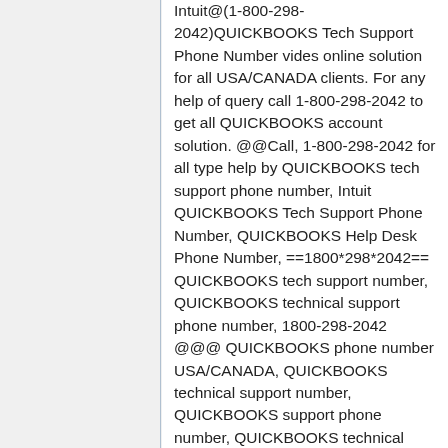Intuit@(1-800-298-2042)QUICKBOOKS Tech Support Phone Number vides online solution for all USA/CANADA clients. For any help of query call 1-800-298-2042 to get all QUICKBOOKS account solution. @@Call, 1-800-298-2042 for all type help by QUICKBOOKS tech support phone number, Intuit QUICKBOOKS Tech Support Phone Number, QUICKBOOKS Help Desk Phone Number, ==1800*298*2042== QUICKBOOKS tech support number, QUICKBOOKS technical support phone number, 1800-298-2042 @@@ QUICKBOOKS phone number USA/CANADA, QUICKBOOKS technical support number, QUICKBOOKS support phone number, QUICKBOOKS technical support, QUICKBOOKS Customer Service Phone Number, 1800~298~2042 QUICKBOOKS Customer Service